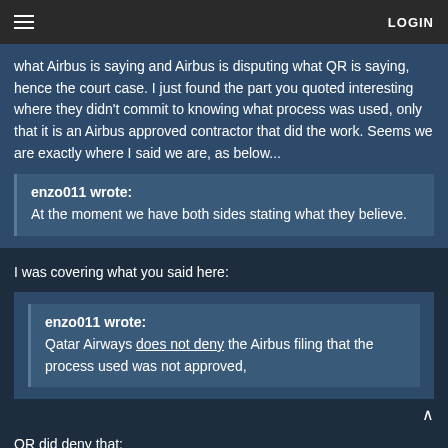≡   LOGIN
what Airbus is saying and Airbus is disputing what QR is saying, hence the court case. I just found the part you quoted interesting where they didn't commit to knowing what process was used, only that it is an Airbus approved contractor that did the work. Seems we are exactly where I said we are, as below...
enzo011 wrote: At the moment we have both sides stating what they believe.
I was covering what you said here:
enzo011 wrote: Qatar Airways does not deny the Airbus filing that the process used was not approved,
QR did deny that:
'The Defendant's assertion that "the chemical paint stripping and